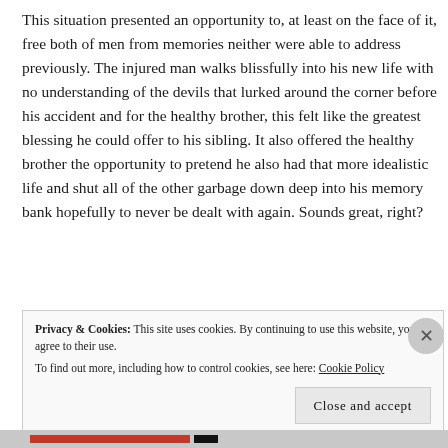This situation presented an opportunity to, at least on the face of it, free both of men from memories neither were able to address previously. The injured man walks blissfully into his new life with no understanding of the devils that lurked around the corner before his accident and for the healthy brother, this felt like the greatest blessing he could offer to his sibling. It also offered the healthy brother the opportunity to pretend he also had that more idealistic life and shut all of the other garbage down deep into his memory bank hopefully to never be dealt with again. Sounds great, right?
Privacy & Cookies: This site uses cookies. By continuing to use this website, you agree to their use.
To find out more, including how to control cookies, see here: Cookie Policy